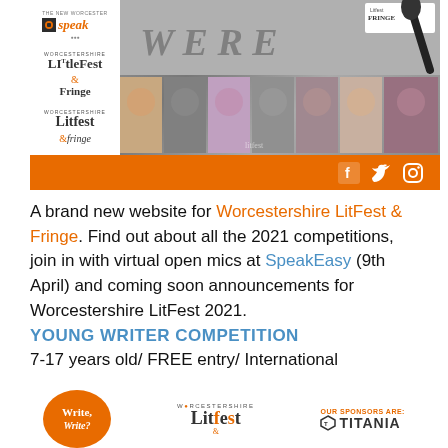[Figure (photo): Worcestershire LitFest & Fringe banner image: collage of event photos with logos on the left (Speak, LITtleFest & Fringe, Litfest & Fringe), an orange bar at the bottom with social media icons (Facebook, Twitter, Instagram)]
A brand new website for Worcestershire LitFest & Fringe. Find out about all the 2021 competitions, join in with virtual open mics at SpeakEasy (9th April) and coming soon announcements for Worcestershire LitFest 2021.
YOUNG WRITER COMPETITION
7-17 years old/ FREE entry/ International
[Figure (logo): Bottom logos: Write, Write? orange circle logo; Worcestershire LitFest logo; OUR SPONSORS ARE: TITANIA logo]